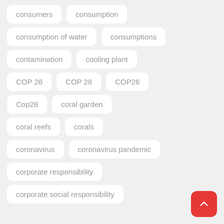consumers
consumption
consumption of water
consumptions
contamination
cooling plant
COP 26
COP 28
COP26
Cop28
coral garden
coral reefs
corals
coronavirus
coronavirus pandemic
corporate responsibility
corporate social responsibility